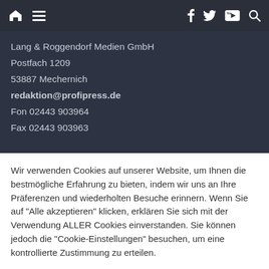[Figure (screenshot): Navigation bar with home icon, hamburger menu on left; Facebook, Twitter, YouTube, Search icons on right, on dark background]
Lang & Roggendorf Medien GmbH
Postfach 1209
53887 Mechernich
redaktion@profipress.de
Fon 02443 903964
Fax 02443 903963
Wir verwenden Cookies auf unserer Website, um Ihnen die bestmögliche Erfahrung zu bieten, indem wir uns an Ihre Präferenzen und wiederholten Besuche erinnern. Wenn Sie auf "Alle akzeptieren" klicken, erklären Sie sich mit der Verwendung ALLER Cookies einverstanden. Sie können jedoch die "Cookie-Einstellungen" besuchen, um eine kontrollierte Zustimmung zu erteilen.
Einstellungen
Alle akzeptieren